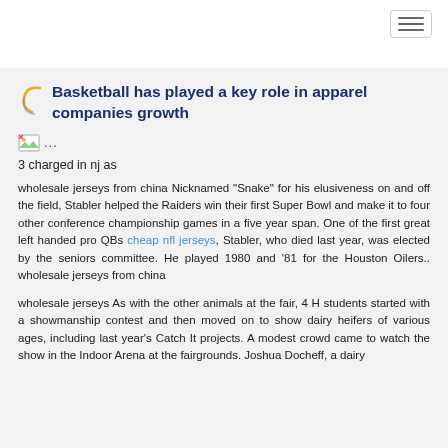Basketball has played a key role in apparel companies growth
[Figure (illustration): Small broken image placeholder icon followed by ellipsis dots]
3 charged in nj as
wholesale jerseys from china Nicknamed "Snake" for his elusiveness on and off the field, Stabler helped the Raiders win their first Super Bowl and make it to four other conference championship games in a five year span. One of the first great left handed pro QBs cheap nfl jerseys, Stabler, who died last year, was elected by the seniors committee. He played 1980 and '81 for the Houston Oilers.. wholesale jerseys from china
wholesale jerseys As with the other animals at the fair, 4 H students started with a showmanship contest and then moved on to show dairy heifers of various ages, including last year's Catch It projects. A modest crowd came to watch the show in the Indoor Arena at the fairgrounds. Joshua Docheff, a dairy